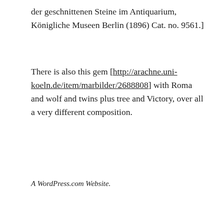der geschnittenen Steine im Antiquarium, Königliche Museen Berlin (1896) Cat. no. 9561.]
There is also this gem [http://arachne.uni-koeln.de/item/marbilder/2688808] with Roma and wolf and twins plus tree and Victory, over all a very different composition.
A WordPress.com Website.